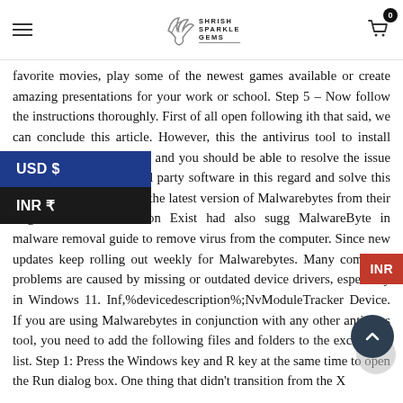SHRISH SPARKLE GEMS
favorite movies, play some of the newest games available or create amazing presentations for your work or school. Step 5 – Now follow the instructions thoroughly. First of all open following ith that said, we can conclude this article. However, this the antivirus tool to install itself after restarting your and you should be able to resolve the issue now. We nd you use third party software in this regard and solve this issue. You can download the latest version of Malwarebytes from their original website. Solution Exist had also sugg MalwareByte in malware removal guide to remove virus from the computer. Since new updates keep rolling out weekly for Malwarebytes. Many computer problems are caused by missing or outdated device drivers, especially in Windows 11. Inf,%devicedescription%;NvModuleTracker Device. If you are using Malwarebytes in conjunction with any other antivirus tool, you need to add the following files and folders to the exceptions list. Step 1: Press the Windows key and R key at the same time to open the Run dialog box. One thing that didn't transition from the X